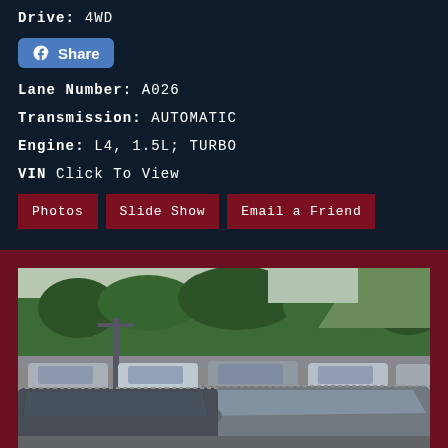Drive: 4WD
Share (Facebook button)
Lane Number: A026
Transmission: AUTOMATIC
Engine: L4, 1.5L; TURBO
VIN Click To View
Photos  Slide Show  Email a Friend
[Figure (photo): Outdoor car lot with multiple vehicles parked in rows, trees and hills in background, overcast/bright day]